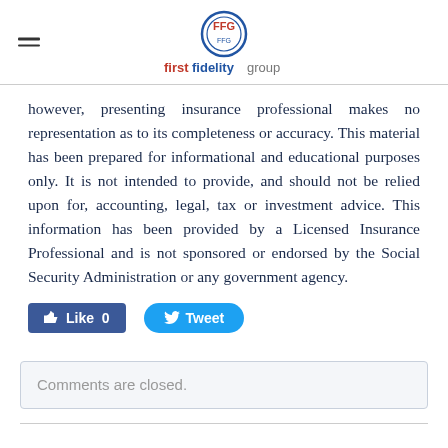firstfidelitygroup
however, presenting insurance professional makes no representation as to its completeness or accuracy. This material has been prepared for informational and educational purposes only. It is not intended to provide, and should not be relied upon for, accounting, legal, tax or investment advice. This information has been provided by a Licensed Insurance Professional and is not sponsored or endorsed by the Social Security Administration or any government agency.
[Figure (other): Facebook Like button (0 likes) and Twitter Tweet button]
Comments are closed.